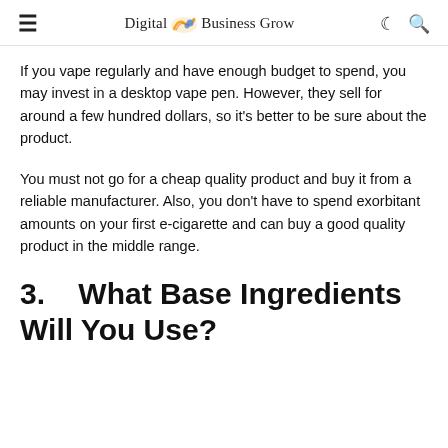Digital Business Grow
If you vape regularly and have enough budget to spend, you may invest in a desktop vape pen. However, they sell for around a few hundred dollars, so it's better to be sure about the product.
You must not go for a cheap quality product and buy it from a reliable manufacturer. Also, you don't have to spend exorbitant amounts on your first e-cigarette and can buy a good quality product in the middle range.
3.    What Base Ingredients Will You Use?